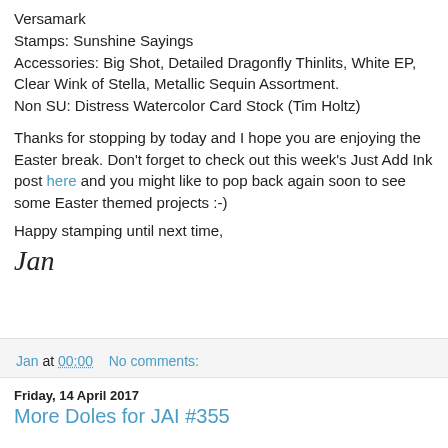Versamark
Stamps: Sunshine Sayings
Accessories: Big Shot, Detailed Dragonfly Thinlits, White EP, Clear Wink of Stella, Metallic Sequin Assortment.
Non SU: Distress Watercolor Card Stock (Tim Holtz)
Thanks for stopping by today and I hope you are enjoying the Easter break. Don't forget to check out this week's Just Add Ink post here and you might like to pop back again soon to see some Easter themed projects :-)
Happy stamping until next time,
Jan
Jan at 00:00   No comments:
Share
Friday, 14 April 2017
More Doles for JAI #355